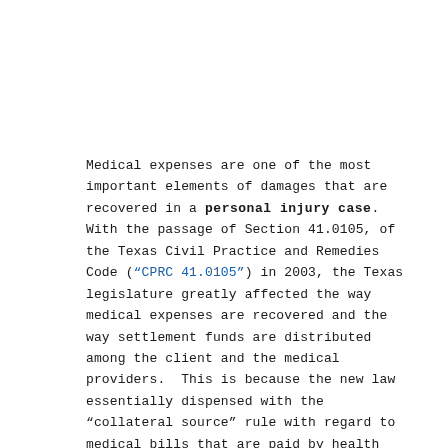Medical expenses are one of the most important elements of damages that are recovered in a personal injury case. With the passage of Section 41.0105, of the Texas Civil Practice and Remedies Code ("CPRC 41.0105") in 2003, the Texas legislature greatly affected the way medical expenses are recovered and the way settlement funds are distributed among the client and the medical providers. This is because the new law essentially dispensed with the “collateral source” rule with regard to medical bills that are paid by health insurance or other health programs such as Medicare and Medicaid.
Anyone who carries health insurance probably knows that the amount that is actually billed by